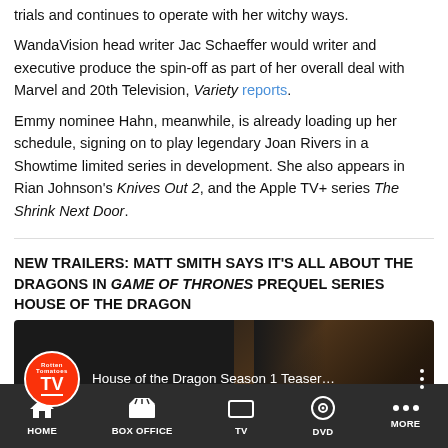trials and continues to operate with her witchy ways.
WandaVision head writer Jac Schaeffer would writer and executive produce the spin-off as part of her overall deal with Marvel and 20th Television, Variety reports.
Emmy nominee Hahn, meanwhile, is already loading up her schedule, signing on to play legendary Joan Rivers in a Showtime limited series in development. She also appears in Rian Johnson's Knives Out 2, and the Apple TV+ series The Shrink Next Door.
NEW TRAILERS: MATT SMITH SAYS IT'S ALL ABOUT THE DRAGONS IN GAME OF THRONES PREQUEL SERIES HOUSE OF THE DRAGON
[Figure (screenshot): Video thumbnail showing 'House of the Dragon Season 1 Teaser...' with Rotten Tomatoes TV logo on dark background with partial face visible]